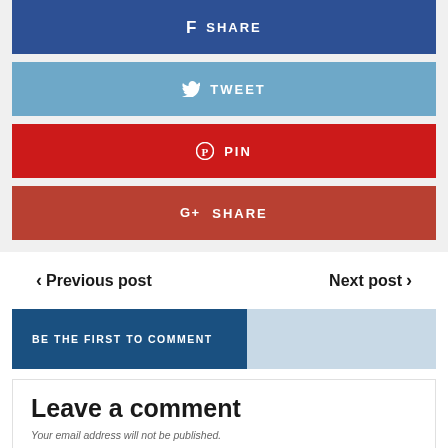[Figure (infographic): Social share buttons: Facebook SHARE (dark blue), Twitter TWEET (light blue), Pinterest PIN (red), Google+ SHARE (dark red/brown)]
< Previous post
Next post >
BE THE FIRST TO COMMENT
Leave a comment
Your email address will not be published.